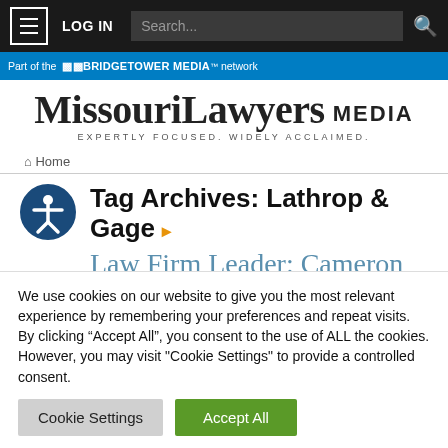LOG IN | Search... | [menu icon] [search icon]
Part of the BridgeTower Media network
[Figure (logo): Missouri Lawyers Media logo — 'MissouriLawyers MEDIA' in serif/sans font with tagline 'EXPERTLY FOCUSED. WIDELY ACCLAIMED.']
Home
Tag Archives: Lathrop & Gage
Law Firm Leader: Cameron Garrison, Lathrop GPM
We use cookies on our website to give you the most relevant experience by remembering your preferences and repeat visits. By clicking “Accept All”, you consent to the use of ALL the cookies. However, you may visit "Cookie Settings" to provide a controlled consent.
Cookie Settings | Accept All